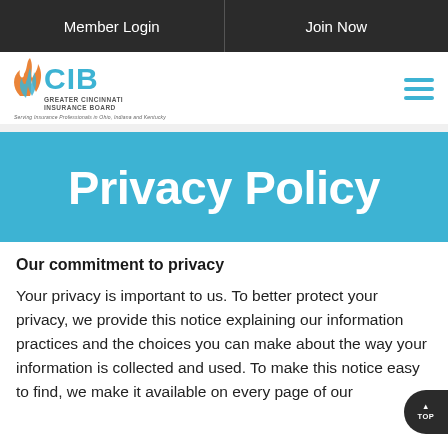Member Login | Join Now
[Figure (logo): CIB Greater Cincinnati Insurance Board logo with flame icon and tagline: Serving Insurance Professionals in Ohio, Indiana and Kentucky]
Privacy Policy
Our commitment to privacy
Your privacy is important to us. To better protect your privacy, we provide this notice explaining our information practices and the choices you can make about the way your information is collected and used. To make this notice easy to find, we make it available on every page of our